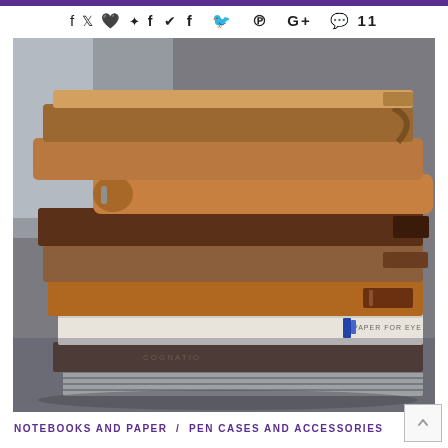f  ♥  P  G+  💬 11
[Figure (photo): A tall stack of leather-bound notebooks and journals in various shades of brown, tan, and dark chocolate, with a striped notebook at the bottom, photographed on a grey surface.]
NOTEBOOKS AND PAPER  /  PEN CASES AND ACCESSORIES